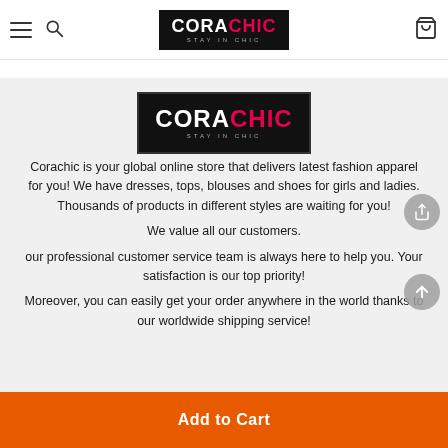CORACHIC — navigation header with logo, hamburger menu, search, and cart icons
[Figure (logo): CORACHIC logo — black background, white and pink text, tagline STAY IN CHIC]
Corachic is your global online store that delivers latest fashion apparel for you! We have dresses, tops, blouses and shoes for girls and ladies. Thousands of products in different styles are waiting for you!
We value all our customers.
our professional customer service team is always here to help you. Your satisfaction is our top priority!
Moreover, you can easily get your order anywhere in the world thanks to our worldwide shipping service!
Add to Cart